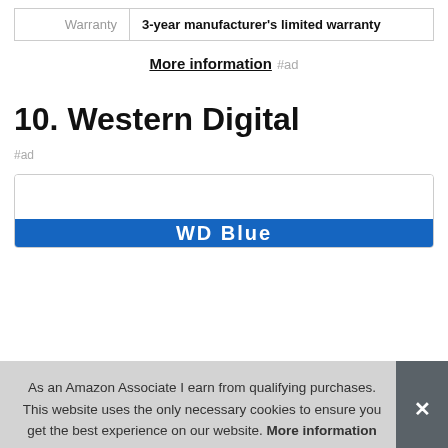| Warranty | 3-year manufacturer's limited warranty |
More information #ad
10. Western Digital
#ad
[Figure (screenshot): Product card showing WD Blue logo, partially visible at bottom]
As an Amazon Associate I earn from qualifying purchases. This website uses the only necessary cookies to ensure you get the best experience on our website. More information